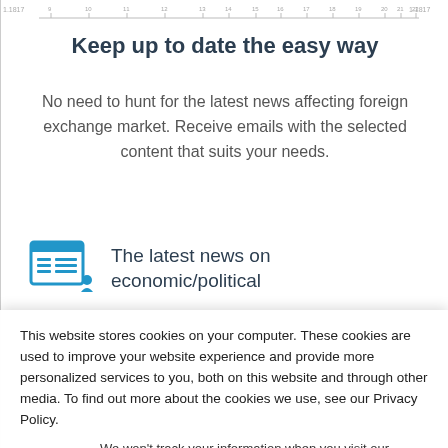[Figure (other): Ruler/timeline bar with tick marks and numbers (9, 10, 11, 12, 13, 14, 15, 16, 17, 18, 19, 20, 21, 22) and labels 1.1817 on each side]
Keep up to date the easy way
No need to hunt for the latest news affecting foreign exchange market. Receive emails with the selected content that suits your needs.
[Figure (illustration): Blue icon of a newspaper/browser window with grid layout]
The latest news on economic/political
This website stores cookies on your computer. These cookies are used to improve your website experience and provide more personalized services to you, both on this website and through other media. To find out more about the cookies we use, see our Privacy Policy.
We won't track your information when you visit our site. But in order to comply with your preferences, we'll have to use just one tiny cookie so that you're not asked to make this choice again.